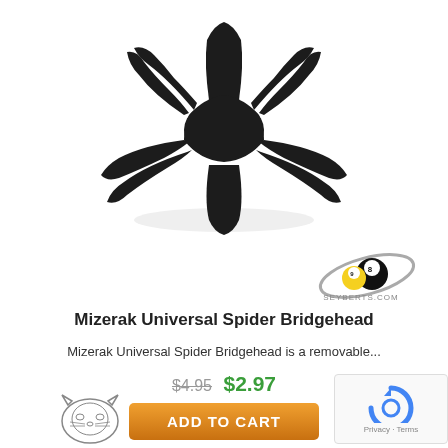[Figure (photo): Black Mizerak Universal Spider Bridgehead pool cue accessory, top-down view showing the spider-shaped bridgehead with multiple prongs and a center hole]
[Figure (logo): Seyberts.com logo with billiard ball graphic]
Mizerak Universal Spider Bridgehead
Mizerak Universal Spider Bridgehead is a removable...
$4.95 $2.97
ADD TO CART
[Figure (logo): Small tiger/cat head logo at bottom left]
[Figure (other): Google reCAPTCHA badge with privacy and terms links]